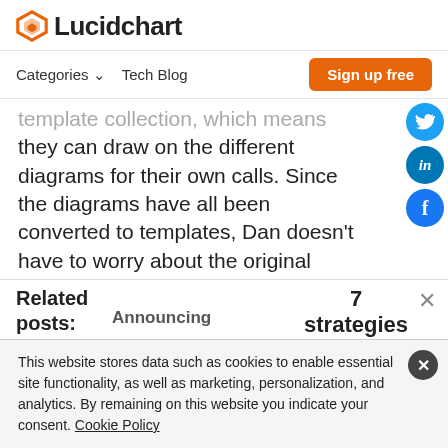Lucidchart
Categories  Tech Blog  Sign up free
template collection, which means they can draw on the different diagrams for their own calls. Since the diagrams have all been converted to templates, Dan doesn't have to worry about the original
Related posts:
Announcing
7 strategies for
This website stores data such as cookies to enable essential site functionality, as well as marketing, personalization, and analytics. By remaining on this website you indicate your consent. Cookie Policy